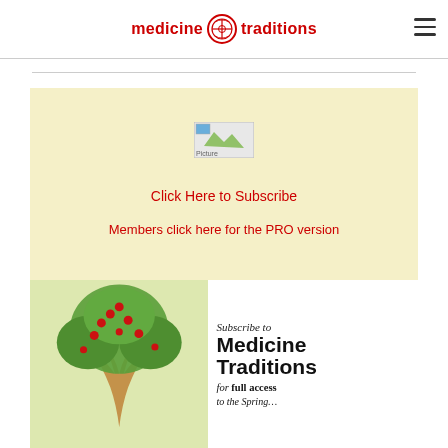[Figure (logo): Medicine Traditions logo with red text and Celtic-style circular emblem in the center]
[Figure (photo): Small broken image placeholder icon]
Click Here to Subscribe
Members click here for the PRO version
[Figure (illustration): Subscribe to Medicine Traditions banner showing a decorative tree with red berries on left, and text 'Subscribe to Medicine Traditions for full access' on right]